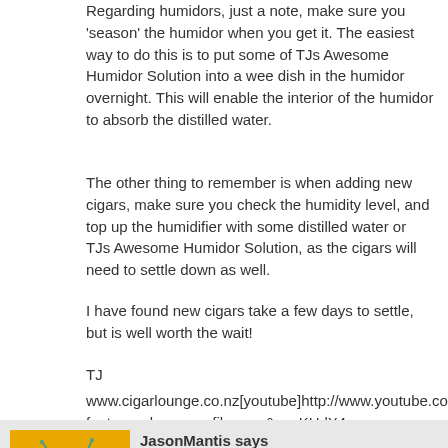Regarding humidors, just a note, make sure you 'season' the humidor when you get it. The easiest way to do this is to put some of TJs Awesome Humidor Solution into a wee dish in the humidor overnight. This will enable the interior of the humidor to absorb the distilled water.
The other thing to remember is when adding new cigars, make sure you check the humidity level, and top up the humidifier with some distilled water or TJs Awesome Humidor Solution, as the cigars will need to settle down as well.
I have found new cigars take a few days to settle, but is well worth the wait!
TJ
www.cigarlounge.co.nz[youtube]http://www.youtube.com/watch?feature=player_profilepage&v=yKHdX4v-4BU[/youtube]
JasonMantis says
You might just be one of the pedants that the article refers to! Mind you, I'm totally on your side. I don't own a humidor, but I do love a cigar every now and again. Mainly on special occasions as it's getting